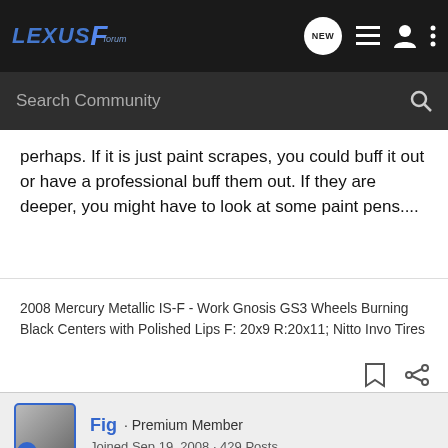LexusF Forum - header with search bar
perhaps. If it is just paint scrapes, you could buff it out or have a professional buff them out. If they are deeper, you might have to look at some paint pens....
2008 Mercury Metallic IS-F - Work Gnosis GS3 Wheels Burning Black Centers with Polished Lips F: 20x9 R:20x11; Nitto Invo Tires
Fig · Premium Member
Joined Sep 19, 2008 · 429 Posts
#3 · Nov 15, 2008
pic up some QUIXX scratch repair system from me... it will fix